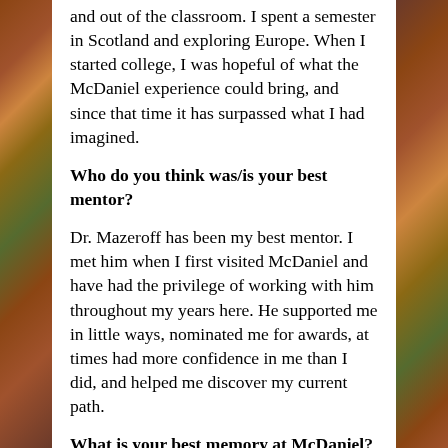and out of the classroom. I spent a semester in Scotland and exploring Europe. When I started college, I was hopeful of what the McDaniel experience could bring, and since that time it has surpassed what I had imagined.
Who do you think was/is your best mentor?
Dr. Mazeroff has been my best mentor. I met him when I first visited McDaniel and have had the privilege of working with him throughout my years here. He supported me in little ways, nominated me for awards, at times had more confidence in me than I did, and helped me discover my current path.
What is your best memory at McDaniel?
That’s a tough one…one of my best memories at McDaniel was Galentine’s Day with my friends